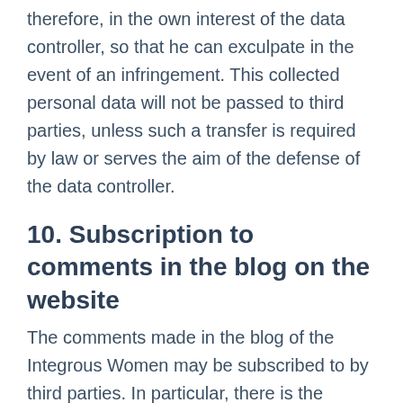therefore, in the own interest of the data controller, so that he can exculpate in the event of an infringement. This collected personal data will not be passed to third parties, unless such a transfer is required by law or serves the aim of the defense of the data controller.
10. Subscription to comments in the blog on the website
The comments made in the blog of the Integrous Women may be subscribed to by third parties. In particular, there is the possibility that a commenter subsequently comments on a follow-up